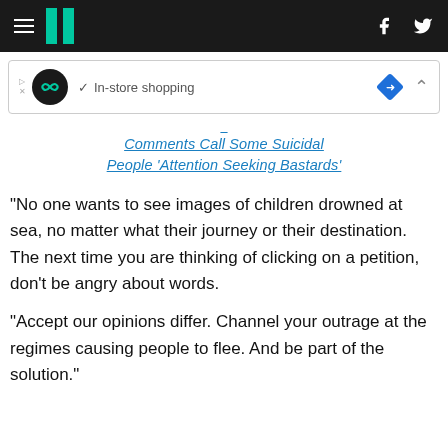HuffPost navigation bar with hamburger menu, logo, Facebook and Twitter icons
[Figure (other): Advertisement banner with circular logo icon, checkmark, 'In-store shopping' text, blue diamond direction icon, and collapse chevron]
...Comments Call Some Suicidal People 'Attention Seeking Bastards'
"No one wants to see images of children drowned at sea, no matter what their journey or their destination. The next time you are thinking of clicking on a petition, don't be angry about words.
"Accept our opinions differ. Channel your outrage at the regimes causing people to flee. And be part of the solution."